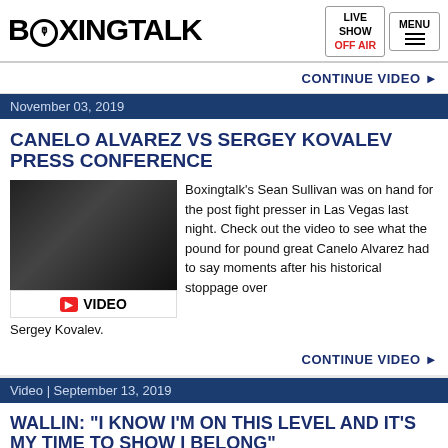BOXINGTALK | LIVE SHOW OFF AIR | MENU
CONTINUE VIDEO ▶
November 03, 2019
CANELO ALVAREZ VS SERGEY KOVALEV PRESS CONFERENCE
[Figure (photo): Video thumbnail of press conference with YouTube video label]
Boxingtalk's Sean Sullivan was on hand for the post fight presser in Las Vegas last night. Check out the video to see what the pound for pound great Canelo Alvarez had to say moments after his historical stoppage over Sergey Kovalev.
CONTINUE VIDEO ▶
Video | September 13, 2019
WALLIN: "I KNOW I'M ON THIS LEVEL AND IT'S MY TIME TO SHOW I BELONG"
[Figure (photo): Video thumbnail for Wallin interview]
What is Otto Wallin thinking as he prepares for the biggest fight of his life, a challenge